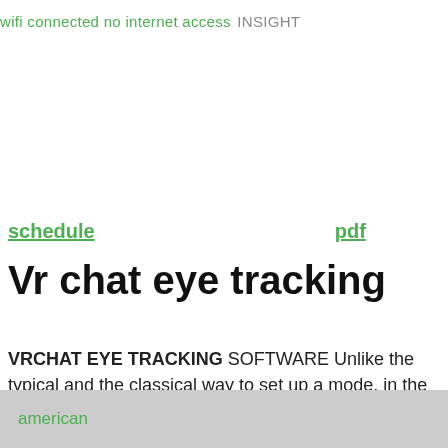wifi connected no internet access INSIGHT
schedule    pdf
Vr chat eye tracking
VRCHAT EYE TRACKING SOFTWARE Unlike the typical and the classical way to set up a mode, in the VRchat game, the cats blender plugin allows the gamers to form the new model in a less time. The latest cats blender plugin allows the users to send sharpened eye expressions along with the eye-tracking.
american